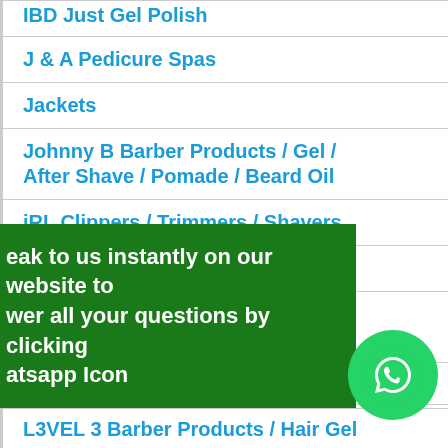IBD Just Gel Polish
J & A Pedicure Spas
Jackets
Johnny B Barber Products / Gel / After Shave / Pomade / Beard Oil
jRL Clippers / Trimmers / Shavers
Kanechom Hair Products
Keragen - Keratin + Collagen Hair Smoothing Treatments
Kiss Tintation Temporary Hair...
eak to us instantly on our website to wer all your questions by clicking atsapp Icon
L3VEL 3 Barber Products / Hair Gel